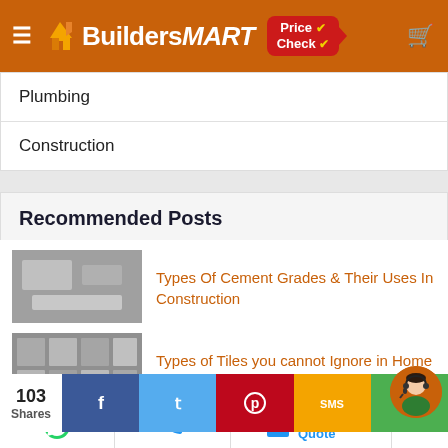[Figure (screenshot): BuildersMART website header with hamburger menu, logo, Price Check badge, and cart icon on orange background]
Plumbing
Construction
Recommended Posts
[Figure (photo): Thumbnail image of cement grades]
Types Of Cement Grades & Their Uses In Construction
[Figure (photo): Thumbnail image of tiles]
Types of Tiles you cannot Ignore in Home Renovation
[Figure (photo): Thumbnail image for home remodelling myths]
5 Common Myths about Home Remodelling
[Figure (photo): Thumbnail image for house construction cost]
7 Ways to Reduce the Cost of House Construction
[Figure (infographic): Social share bar showing 103 Shares with Facebook, Twitter, Pinterest, SMS, and share buttons]
[Figure (infographic): Bottom navigation bar with WhatsApp, phone, Get a free Quote buttons and support avatar]